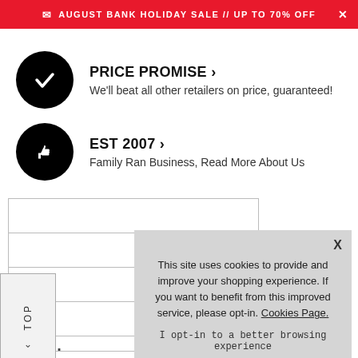AUGUST BANK HOLIDAY SALE // UP TO 70% OFF
PRICE PROMISE ›
We'll beat all other retailers on price, guaranteed!
EST 2007 ›
Family Ran Business, Read More About Us
[Figure (screenshot): Website UI with bordered content rows and a TOP navigation label on the left side]
This site uses cookies to provide and improve your shopping experience. If you want to benefit from this improved service, please opt-in. Cookies Page.

I opt-in to a better browsing experience

ACCEPT COOKIES